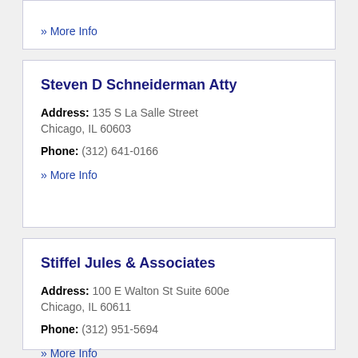» More Info
Steven D Schneiderman Atty
Address: 135 S La Salle Street Chicago, IL 60603
Phone: (312) 641-0166
» More Info
Stiffel Jules & Associates
Address: 100 E Walton St Suite 600e Chicago, IL 60611
Phone: (312) 951-5694
» More Info